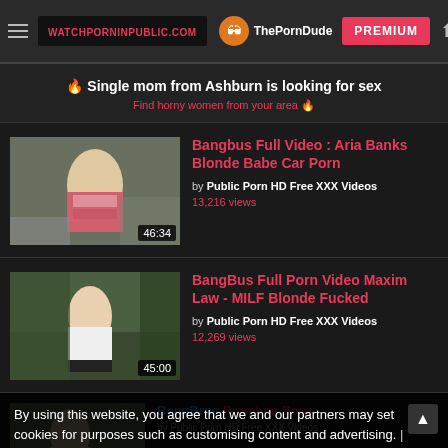WATCHPORNINPUBLIC.COM | ThePornDude | PREMIUM
🔥 Single mom from Ashburn is looking for sex
Find horny women from your area 🔥
[Figure (screenshot): Video thumbnail: woman in pink striped sweater outdoors near garage]
Bangbus Full Video : Aria Banks Blonde Babe Car Porn
by Public Porn HD Free XXX Videos
13,216 views
[Figure (screenshot): Video thumbnail: blonde woman outdoors with trees in background]
BangBus Full Porn Video Maxim Law - MILF Blonde Fucked
by Public Porn HD Free XXX Videos
12,269 views
By using this website, you agree that we and our partners may set cookies for purposes such as customising content and advertising.
Understand
[Figure (screenshot): Third video thumbnail partially visible at bottom]
BangBros Premium Porn
by Public Porn HD Free XXX Videos